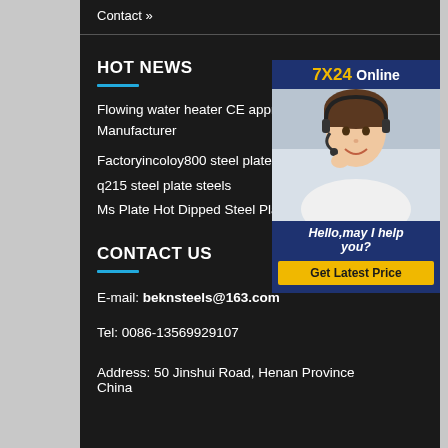Contact »
HOT NEWS
Flowing water heater CE approved Manufacturer
Factoryincoloy800 steel plate
q215 steel plate steels
Ms Plate Hot Dipped Steel Plate
[Figure (photo): Customer service representative with headset smiling, with 7X24 Online banner and Hello,may I help you? text and Get Latest Price button]
CONTACT US
E-mail: beknsteels@163.com
Tel: 0086-13569929107
Address: 50 Jinshui Road, Henan Province China